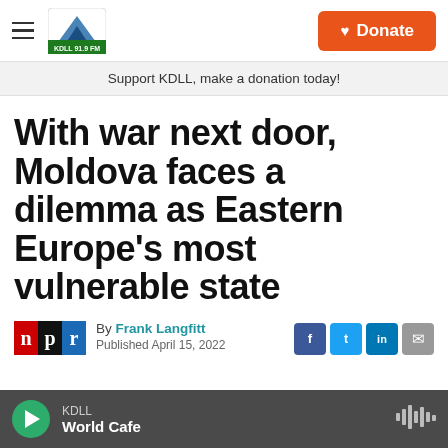KDLL — Donate
Support KDLL, make a donation today!
With war next door, Moldova faces a dilemma as Eastern Europe's most vulnerable state
By Frank Langfitt
Published April 15, 2022
KDLL — World Cafe